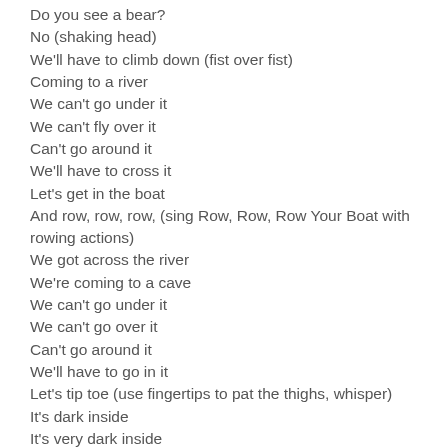Do you see a bear?
No (shaking head)
We'll have to climb down (fist over fist)
Coming to a river
We can't go under it
We can't fly over it
Can't go around it
We'll have to cross it
Let's get in the boat
And row, row, row, (sing Row, Row, Row Your Boat with rowing actions)
We got across the river
We're coming to a cave
We can't go under it
We can't go over it
Can't go around it
We'll have to go in it
Let's tip toe (use fingertips to pat the thighs, whisper)
It's dark inside
It's very dark inside
I can see two eyes...